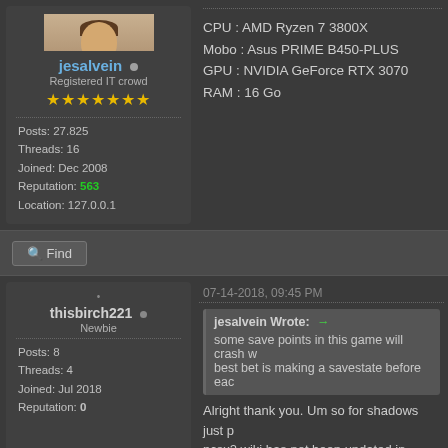[Figure (photo): Avatar photo of user jesalvein, a person in a plaid shirt]
jesalvein • Registered IT crowd ★★★★★★★ Posts: 27.825 Threads: 16 Joined: Dec 2008 Reputation: 563 Location: 127.0.0.1
CPU : AMD Ryzen 7 3800X
Mobo : Asus PRIME B450-PLUS
GPU : NVIDIA GeForce RTX 3070
RAM : 16 Go
Find
07-14-2018, 09:45 PM
thisbirch221 • Newbie Posts: 8 Threads: 4 Joined: Jul 2018 Reputation: 0
jesalvein Wrote: → some save points in this game will crash w best bet is making a savestate before eac
Alright thank you. Um so for shadows just p pcsx2 wiki has not been updated in awhile b